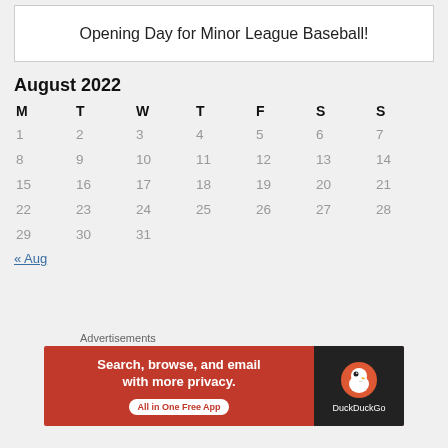Opening Day for Minor League Baseball!
August 2022
| M | T | W | T | F | S | S |
| --- | --- | --- | --- | --- | --- | --- |
| 1 | 2 | 3 | 4 | 5 | 6 | 7 |
| 8 | 9 | 10 | 11 | 12 | 13 | 14 |
| 15 | 16 | 17 | 18 | 19 | 20 | 21 |
| 22 | 23 | 24 | 25 | 26 | 27 | 28 |
| 29 | 30 | 31 |  |  |  |  |
« Aug
GOODREADS
Advertisements
[Figure (screenshot): DuckDuckGo advertisement banner: Search, browse, and email with more privacy. All in One Free App]